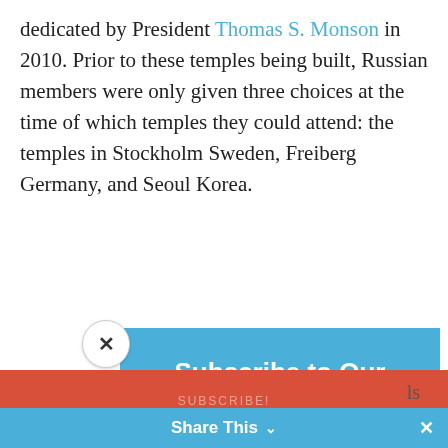dedicated by President Thomas S. Monson in 2010. Prior to these temples being built, Russian members were only given three choices at the time of which temples they could attend: the temples in Stockholm Sweden, Freiberg Germany, and Seoul Korea.
[Figure (screenshot): Newsletter subscription modal overlay with blue header reading 'Subscribe to Our Newsletter', subtext 'Join our weekly mailing list to receive the latest in LDS News.', dark background section with Email input field and Subscribe button. A close (X) button appears in the top-left of the modal.]
RE...
Share This